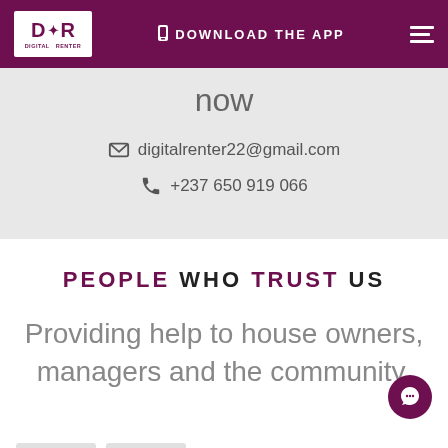D+R DIGITAL RENTER | DOWNLOAD THE APP
now
digitalrenter22@gmail.com
+237 650 919 066
PEOPLE WHO TRUST US
Providing help to house owners, managers and the community.